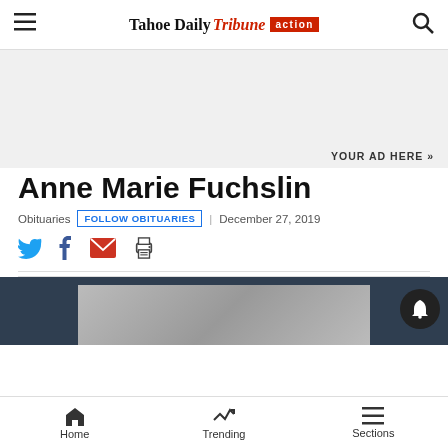Tahoe Daily Tribune action
YOUR AD HERE »
Anne Marie Fuchslin
Obituaries | FOLLOW OBITUARIES | December 27, 2019
[Figure (infographic): Social share icons: Twitter, Facebook, Email, Print]
[Figure (photo): Partial photo visible at bottom of page with dark blue background frame]
Home  Trending  Sections